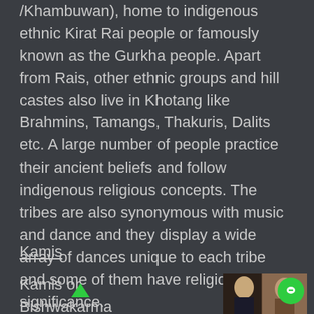/Khambuwan), home to indigenous ethnic Kirat Rai people or famously known as the Gurkha people. Apart from Rais, other ethnic groups and hill castes also live in Khotang like Brahmins, Tamangs, Thakuris, Dalits etc. A large number of people practice their ancient beliefs and follow indigenous religious concepts. The tribes are also synonymous with music and dance and they display a wide array of dances unique to each tribe and some of them have religious significance.
Kamis
Kamis or Bishwakarma
[Figure (photo): A photo showing people, partially visible at the bottom right of the page]